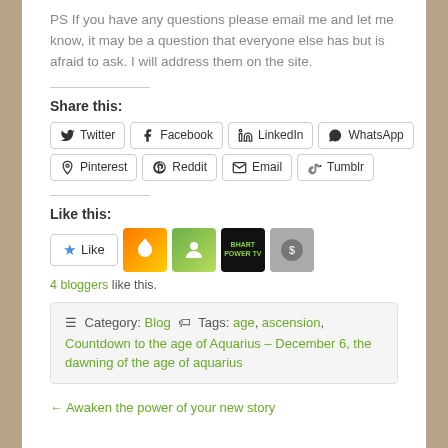PS If you have any questions please email me and let me know, it may be a question that everyone else has but is afraid to ask. I will address them on the site.
Share this:
Twitter Facebook LinkedIn WhatsApp Pinterest Reddit Email Tumblr
Like this:
Like
4 bloggers like this.
Category: Blog  Tags: age, ascension, Countdown to the age of Aquarius – December 6, the dawning of the age of aquarius
← Awaken the power of your new story